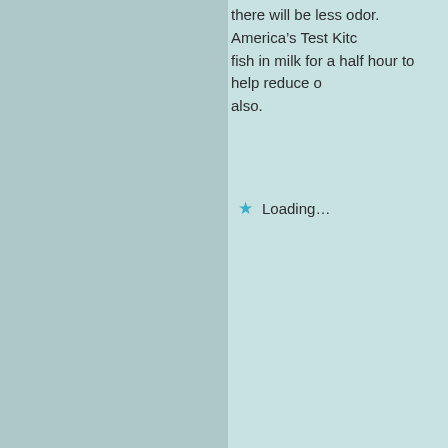there will be less odor. America's Test Kitchen recommends soaking fish in milk for a half hour to help reduce odor when cooking fish also.
Loading...
Leave a Reply
Enter your comment here...
Advertisements